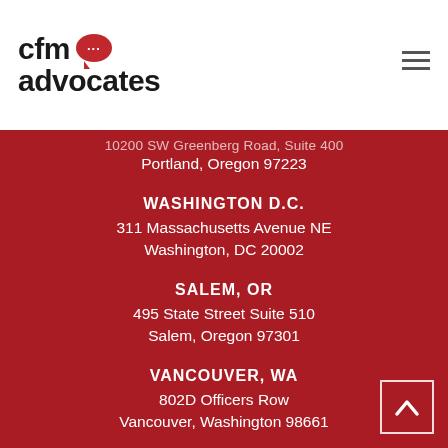[Figure (logo): CFM Advocates logo with red speech bubble icon containing three dots]
10200 SW Greenberg Road, Suite 400
Portland, Oregon 97223
WASHINGTON D.C.
311 Massachusetts Avenue NE
Washington, DC 20002
SALEM, OR
495 State Street Suite 510
Salem, Oregon 97301
VANCOUVER, WA
802D Officers Row
Vancouver, Washington 98661